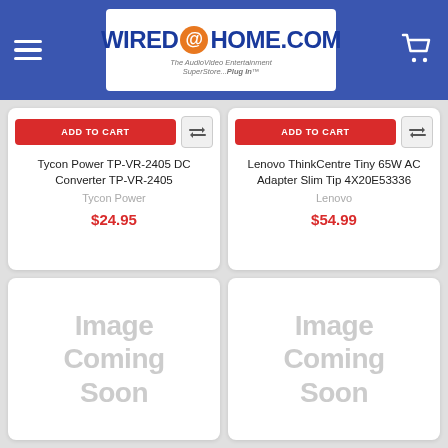WIRED@HOME.COM - The AudioVideo Entertainment SuperStore...Plug In
Tycon Power TP-VR-2405 DC Converter TP-VR-2405
Tycon Power
$24.95
Lenovo ThinkCentre Tiny 65W AC Adapter Slim Tip 4X20E53336
Lenovo
$54.99
[Figure (photo): Image Coming Soon placeholder for product 1]
[Figure (photo): Image Coming Soon placeholder for product 2]